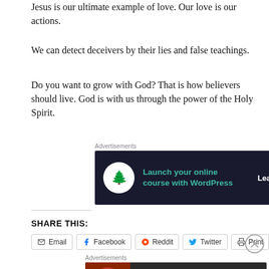Jesus is our ultimate example of love. Our love is our actions.
We can detect deceivers by their lies and false teachings.
Do you want to grow with God? That is how believers should live. God is with us through the power of the Holy Spirit.
[Figure (other): Advertisement banner: Launch your online course with WordPress – Learn More button, dark background with teal text and a bonsai tree icon]
Contact me with questions today!
SHARE THIS:
[Figure (other): Share buttons: Email, Facebook, Reddit, Twitter, Print]
[Figure (other): Advertisement banner: Seamless – ORDER NOW, pizza image on dark background]